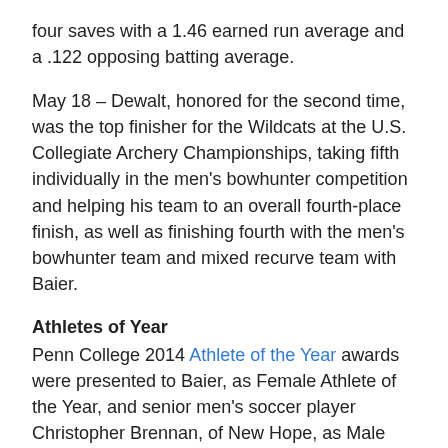four saves with a 1.46 earned run average and a .122 opposing batting average.
May 18 – Dewalt, honored for the second time, was the top finisher for the Wildcats at the U.S. Collegiate Archery Championships, taking fifth individually in the men's bowhunter competition and helping his team to an overall fourth-place finish, as well as finishing fourth with the men's bowhunter team and mixed recurve team with Baier.
Athletes of Year
Penn College 2014 Athlete of the Year awards were presented to Baier, as Female Athlete of the Year, and senior men's soccer player Christopher Brennan, of New Hope, as Male Athlete of the Year.  The awards are voted upon by committee and are based solely on athletic performance.
Looking Ahead
Going into the fall, Penn College will compete as a